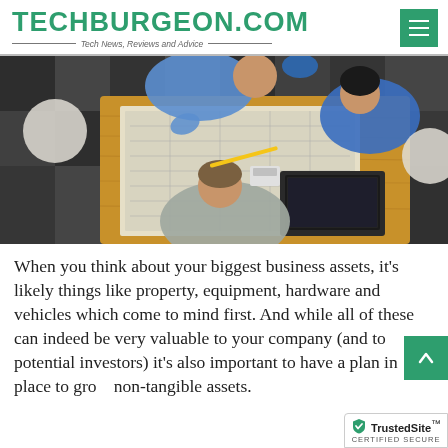TECHBURGEON.COM — Tech News, Reviews and Advice
[Figure (photo): Overhead/bird's-eye view of three people working together at a table with blueprints, a laptop, and papers spread out. One person in a blue shirt, one in a blue top, one in a gray top. The table has a wood surface and the floor has dark tile/carpet.]
When you think about your biggest business assets, it's likely things like property, equipment, hardware and vehicles which come to mind first. And while all of these can indeed be very valuable to your company (and to potential investors) it's also important to have a plan in place to grow non-tangible assets.